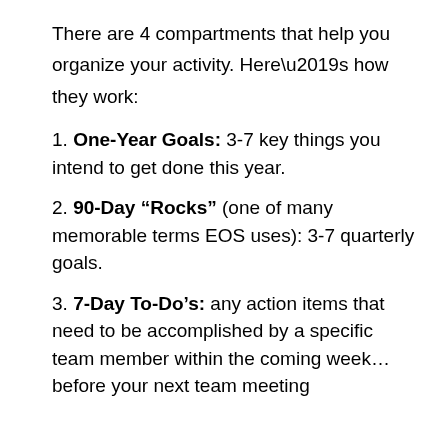There are 4 compartments that help you organize your activity. Here's how they work:
1. One-Year Goals: 3-7 key things you intend to get done this year.
2. 90-Day “Rocks” (one of many memorable terms EOS uses): 3-7 quarterly goals.
3. 7-Day To-Do’s: any action items that need to be accomplished by a specific team member within the coming week…before your next team meeting